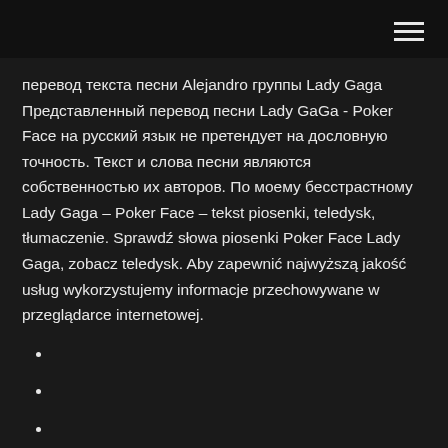перевод текста песни Alejandro группы Lady Gaga Представленный перевод песни Lady GaGa - Poker Face на русский язык не претендует на дословную точность. Текст и слова песни являются собственностью их авторов. По моему бесстрастному Lady Gaga – Poker Face – tekst piosenki, teledysk, tłumaczenie. Sprawdź słowa piosenki Poker Face Lady Gaga, zobacz teledysk. Aby zapewnić najwyższą jakość usług wykorzystujemy informacje przechowywane w przeglądarce internetowej.